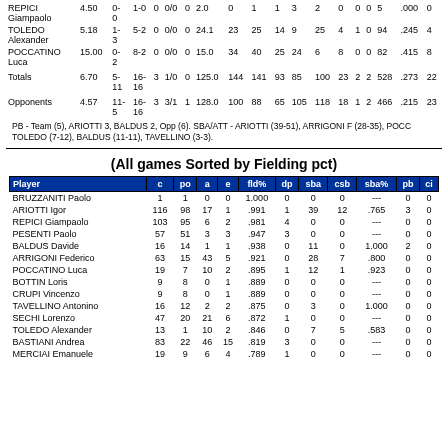| Player | ERA | W-L | W-L | SV | SV/ATT | CG | IP | H | R | ER | BB | SO | 2B | 3B | HR | AB | AVG | WP | HBP |
| --- | --- | --- | --- | --- | --- | --- | --- | --- | --- | --- | --- | --- | --- | --- | --- | --- | --- | --- | --- |
| REPICI Giampaolo | 4.50 | 0-0 | 1-0 | 0 | 0/0 | 0 | 2.0 | 0 | 1 | 1 | 3 | 2 | 0 | 0 | 0 | 5 | .000 | 0 |  |
| TOLEDO Alexander | 5.18 | 1-3 | 5-2 | 0 | 0/0 | 0 | 24.1 | 23 | 25 | 14 | 9 | 25 | 4 | 1 | 0 | 94 | .245 | 4 |  |
| POCCATINO Luca | 15.00 | 0-2 | 8-2 | 0 | 0/0 | 0 | 15.0 | 34 | 40 | 25 | 24 | 6 | 8 | 0 | 0 | 82 | .415 | 8 |  |
| Totals | 6.70 | 5-11 | 16-16 | 3 | 1/0 | 0 | 125.0 | 144 | 141 | 93 | 85 | 100 | 23 | 2 | 2 | 528 | .273 | 22 | 3 |
| Opponents | 4.57 | 11-5 | 16-16 | 3 | 3/1 | 1 | 128.0 | 100 | 88 | 65 | 105 | 118 | 18 | 1 | 2 | 466 | .215 | 23 | 1 |
PB - Team (5), ARIOTTI 3, BALDUS 2, Opp (6). SBA/ATT - ARIOTTI (39-51), ARRIGONI F (28-35), POCCATINO (7-12), TOLEDO (7-12), BALDUS (11-11), TAVELLINO (3-3).
(All games Sorted by Fielding pct)
| Player | c | po | a | e | fld% | dp | sba | csb | sba% | pb | ci |
| --- | --- | --- | --- | --- | --- | --- | --- | --- | --- | --- | --- |
| BRUZZANITI Paolo | 1 | 1 | 0 | 0 | 1.000 | 0 | 0 | 0 | --- | 0 | 0 |
| ARIOTTI Igor | 116 | 98 | 17 | 1 | .991 | 1 | 39 | 12 | .765 | 3 | 0 |
| REPICI Giampaolo | 103 | 95 | 6 | 2 | .981 | 4 | 0 | 0 | --- | 0 | 0 |
| PESENTI Paolo | 57 | 51 | 3 | 3 | .947 | 3 | 0 | 0 | --- | 0 | 0 |
| BALDUS Davide | 16 | 14 | 1 | 1 | .938 | 0 | 11 | 0 | 1.000 | 2 | 0 |
| ARRIGONI Federico | 63 | 15 | 43 | 5 | .921 | 0 | 28 | 7 | .800 | 0 | 0 |
| POCCATINO Luca | 19 | 7 | 10 | 2 | .895 | 1 | 12 | 1 | .923 | 0 | 0 |
| BOTTIN Loris | 9 | 8 | 0 | 1 | .889 | 0 | 0 | 0 | --- | 0 | 0 |
| CRUPI Vincenzo | 9 | 8 | 0 | 1 | .889 | 0 | 0 | 0 | --- | 0 | 0 |
| TAVELLINO Antonino | 16 | 12 | 2 | 2 | .875 | 0 | 3 | 0 | 1.000 | 0 | 0 |
| SECHI Lorenzo | 47 | 20 | 21 | 6 | .872 | 1 | 0 | 0 | --- | 0 | 0 |
| TOLEDO Alexander | 13 | 1 | 10 | 2 | .846 | 0 | 7 | 5 | .583 | 0 | 0 |
| BASTIANI Andrea | 83 | 22 | 46 | 15 | .819 | 3 | 0 | 0 | --- | 0 | 0 |
| MERCIAI Emanuele | 19 | 9 | 6 | 4 | .789 | 1 | 0 | 0 | --- | 0 | 0 |